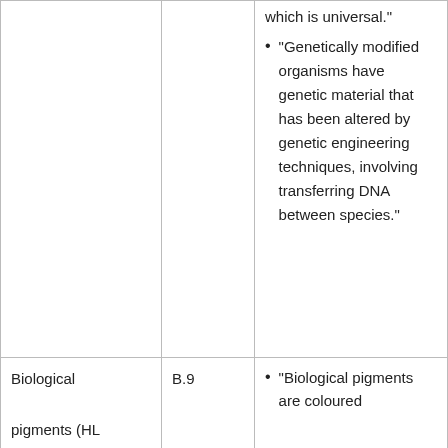|  |  | "genetic code, which is universal."
• "Genetically modified organisms have genetic material that has been altered by genetic engineering techniques, involving transferring DNA between species." |
| Biological pigments (HL ONLY) | B.9 | • "Biological pigments are coloured |